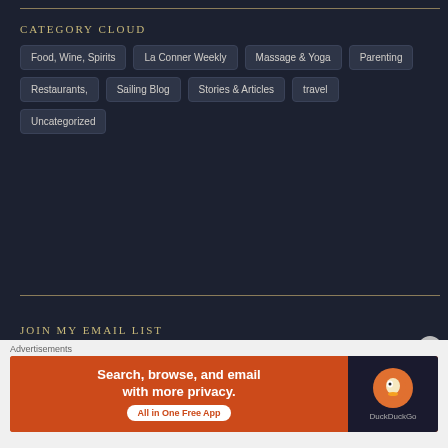CATEGORY CLOUD
Food, Wine, Spirits | La Conner Weekly | Massage & Yoga | Parenting | Restaurants, | Sailing Blog | Stories & Articles | travel | Uncategorized
JOIN MY EMAIL LIST
Advertisements
[Figure (other): DuckDuckGo advertisement banner: Search, browse, and email with more privacy. All in One Free App.]